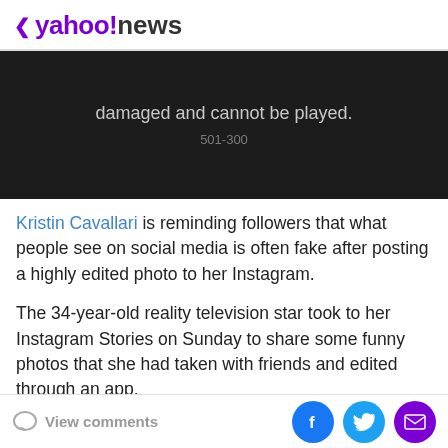< yahoo!news
[Figure (screenshot): Dark video player showing error message: 'damaged and cannot be played.' with error code 501-300]
Kristin Cavallari is reminding followers that what people see on social media is often fake after posting a highly edited photo to her Instagram.
The 34-year-old reality television star took to her Instagram Stories on Sunday to share some funny photos that she had taken with friends and edited through an app.
View comments | Facebook | Twitter | Email